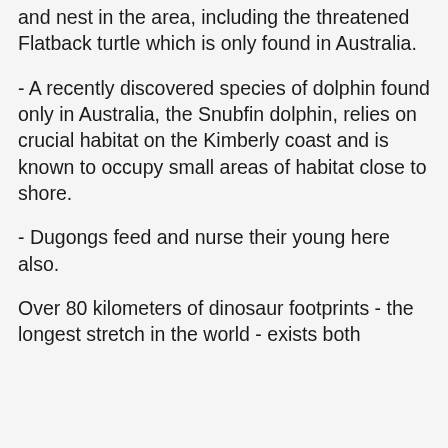…Five species of sea turtle are known to live and nest in the area, including the threatened Flatback turtle which is only found in Australia.
- A recently discovered species of dolphin found only in Australia, the Snubfin dolphin, relies on crucial habitat on the Kimberly coast and is known to occupy small areas of habitat close to shore.
- Dugongs feed and nurse their young here also.
Over 80 kilometers of dinosaur footprints - the longest stretch in the world - exists both